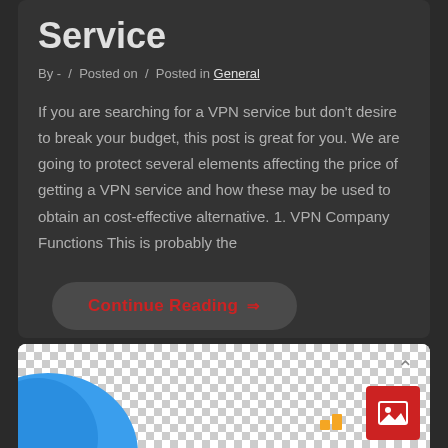Service
By - / Posted on / Posted in General
If you are searching for a VPN service but don't desire to break your budget, this post is great for you. We are going to protect several elements affecting the price of getting a VPN service and how these may be used to obtain an cost-effective alternative. 1. VPN Company Functions This is probably the
Continue Reading ⇒
[Figure (screenshot): Bottom card with checkerboard transparent background, blue shape on left, orange/yellow element in center-right, red image icon button on bottom right, and an up arrow above the red button]